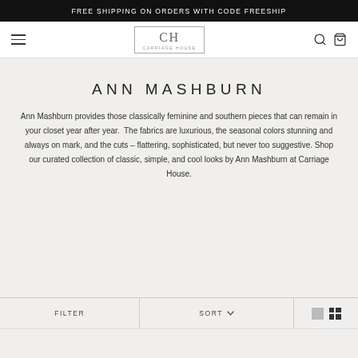FREE SHIPPING ON ORDERS WITH CODE FREESHIP
[Figure (logo): CH Carriage House logo with hamburger menu, search icon, and bag icon in navigation bar]
ANN MASHBURN
Ann Mashburn provides those classically feminine and southern pieces that can remain in your closet year after year. The fabrics are luxurious, the seasonal colors stunning and always on mark, and the cuts – flattering, sophisticated, but never too suggestive. Shop our curated collection of classic, simple, and cool looks by Ann Mashburn at Carriage House.
FILTER   SORT   [grid view icons]